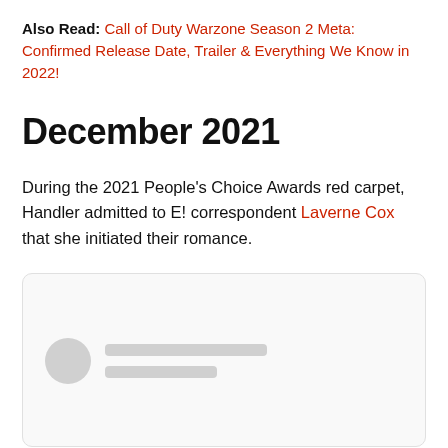Also Read: Call of Duty Warzone Season 2 Meta: Confirmed Release Date, Trailer & Everything We Know in 2022!
December 2021
During the 2021 People’s Choice Awards red carpet, Handler admitted to E! correspondent Laverne Cox that she initiated their romance.
[Figure (screenshot): Embedded social media post placeholder with blurred avatar circle and two gray text placeholder lines]